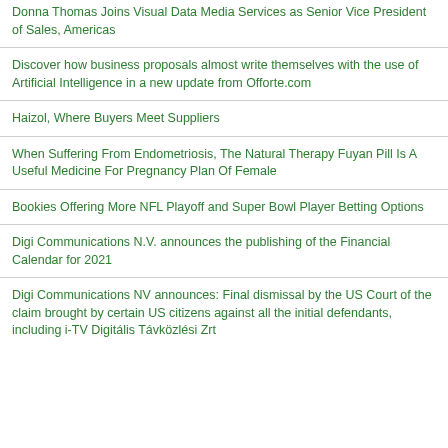Donna Thomas Joins Visual Data Media Services as Senior Vice President of Sales, Americas
Discover how business proposals almost write themselves with the use of Artificial Intelligence in a new update from Offorte.com
Haizol, Where Buyers Meet Suppliers
When Suffering From Endometriosis, The Natural Therapy Fuyan Pill Is A Useful Medicine For Pregnancy Plan Of Female
Bookies Offering More NFL Playoff and Super Bowl Player Betting Options
Digi Communications N.V. announces the publishing of the Financial Calendar for 2021
Digi Communications NV announces: Final dismissal by the US Court of the claim brought by certain US citizens against all the initial defendants, including i-TV Digitális Távközlési Zrt